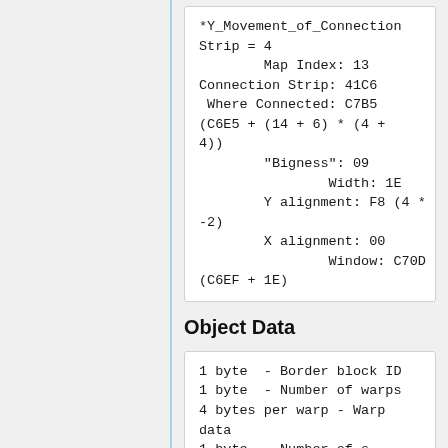*Y_Movement_of_Connection Strip = 4
        Map Index: 13
Connection Strip: 41C6
 Where Connected: C7B5
(C6E5 + (14 + 6) * (4 + 4))
        "Bigness": 09
                Width: 1E
        Y alignment: F8 (4 * -2)
        X alignment: 00
                Window: C70D (C6EF + 1E)
Object Data
1 byte  - Border block ID
1 byte  - Number of warps
4 bytes per warp - Warp data
1 byte  - Number of s...